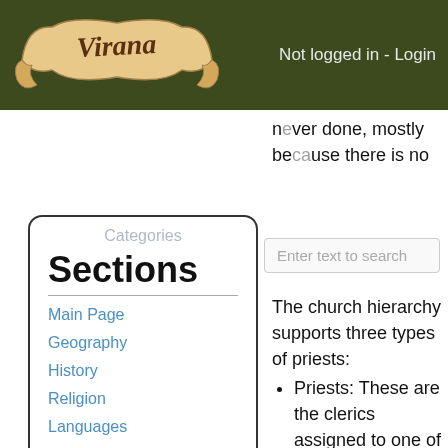Virana — Not logged in - Login
never done, mostly because there is no
Categories
Sections
Main Page
Geography
History
Religion
Languages
Calendar
Characters
Races
Enter text to search
The church hierarchy supports three types of priests:
Priests: These are the clerics assigned to one of the temples. A priest lives and works at the temple, holds sermons, and provides temple services. There